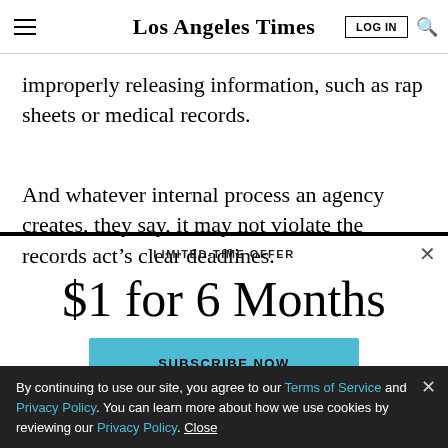Los Angeles Times
improperly releasing information, such as rap sheets or medical records.
And whatever internal process an agency creates, they say, it may not violate the records act’s clear deadlines.
LIMITED-TIME OFFER
$1 for 6 Months
SUBSCRIBE NOW
By continuing to use our site, you agree to our Terms of Service and Privacy Policy. You can learn more about how we use cookies by reviewing our Privacy Policy. Close